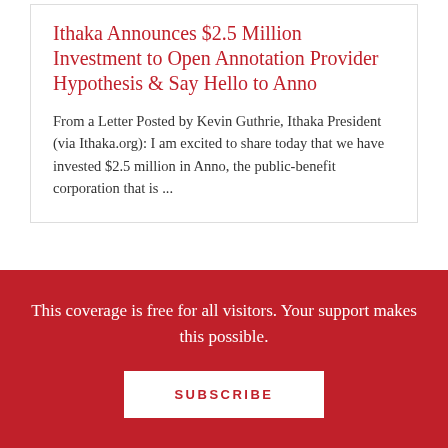Ithaka Announces $2.5 Million Investment to Open Annotation Provider Hypothesis & Say Hello to Anno
From a Letter Posted by Kevin Guthrie, Ithaka President (via Ithaka.org): I am excited to share today that we have invested $2.5 million in Anno, the public-benefit corporation that is ...
Research Tools: BYU Law Adds Full Congressional Record to its Law and Corpus Linguistics Corpora
This coverage is free for all visitors. Your support makes this possible.